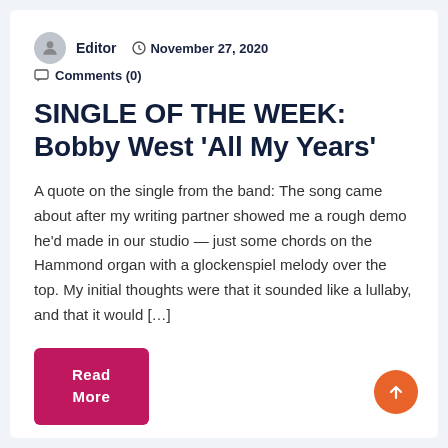Editor  November 27, 2020  Comments (0)
SINGLE OF THE WEEK: Bobby West 'All My Years'
A quote on the single from the band: The song came about after my writing partner showed me a rough demo he'd made in our studio — just some chords on the Hammond organ with a glockenspiel melody over the top. My initial thoughts were that it sounded like a lullaby, and that it would […]
Read More